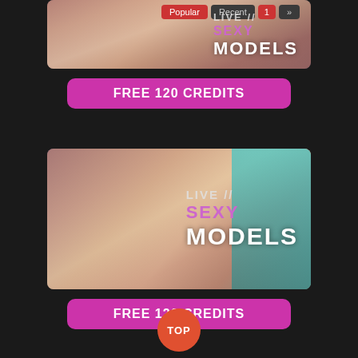[Figure (screenshot): Adult webcam advertisement banner showing 'LIVE SEXY MODELS' text with navigation buttons (Popular, Recent, 1, »)]
FREE 120 CREDITS
[Figure (screenshot): Adult webcam advertisement banner showing 'LIVE SEXY MODELS' text overlay]
FREE 120 CREDITS
TOP